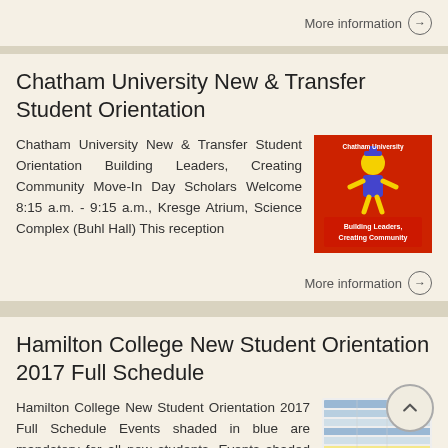More information →
Chatham University New & Transfer Student Orientation
Chatham University New & Transfer Student Orientation Building Leaders, Creating Community Move-In Day Scholars Welcome 8:15 a.m. - 9:15 a.m., Kresge Atrium, Science Complex (Buhl Hall) This reception
[Figure (illustration): Red square logo for Chatham University New & Transfer Student Orientation showing a cartoon mascot and text 'Building Leaders, Creating Community']
More information →
Hamilton College New Student Orientation 2017 Full Schedule
Hamilton College New Student Orientation 2017 Full Schedule Events shaded in blue are mandatory for all new students. Events shaded in yellow are parent and family
[Figure (screenshot): Preview thumbnail of Hamilton College New Student Orientation 2017 Full Schedule document showing a table with colored rows]
[Figure (other): Scroll-up circular button with upward chevron arrow]